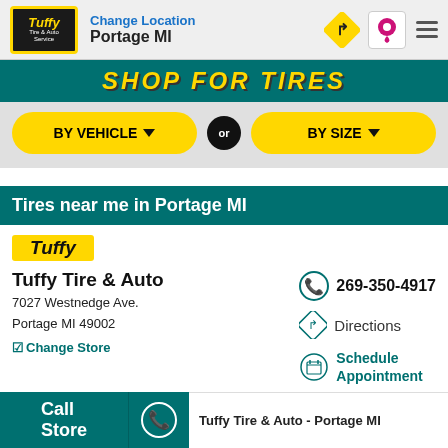Change Location Portage MI
[Figure (screenshot): Shop for Tires banner with yellow italic text on teal background]
BY VEHICLE ▼ OR BY SIZE ▼
Tires near me in Portage MI
[Figure (logo): Tuffy logo yellow badge]
Tuffy Tire & Auto
7027 Westnedge Ave.
Portage MI 49002
☑Change Store
269-350-4917
Directions
Schedule Appointment
Open Until 6:00PM - Hours ▼
Call Store